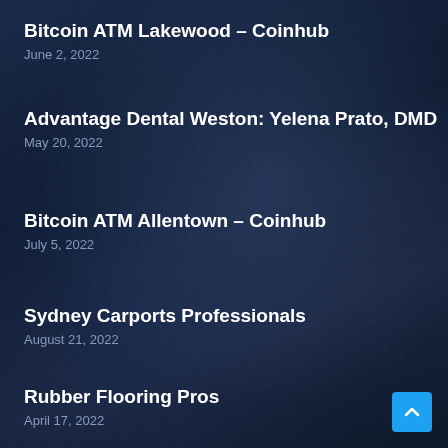Bitcoin ATM Lakewood – Coinhub
June 2, 2022
Advantage Dental Weston: Yelena Prato, DMD
May 20, 2022
Bitcoin ATM Allentown – Coinhub
July 5, 2022
Sydney Carports Professionals
August 21, 2022
Rubber Flooring Pros
April 17, 2022